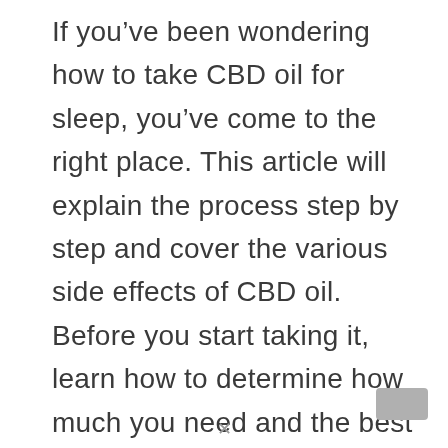If you've been wondering how to take CBD oil for sleep, you've come to the right place. This article will explain the process step by step and cover the various side effects of CBD oil. Before you start taking it, learn how to determine how much you need and the best dosage. Once you've found the right amount of CBD oil for sleep, you'll be able to enjoy the benefits of CBD before bed